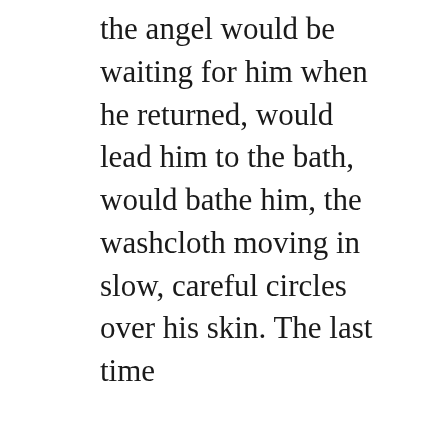the angel would be waiting for him when he returned, would lead him to the bath, would bathe him, the washcloth moving in slow, careful circles over his skin. The last time